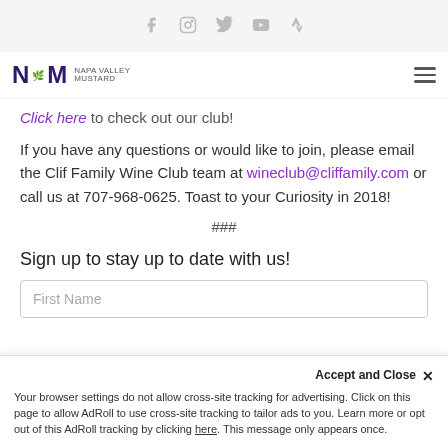Social icons: Facebook, Instagram, Twitter, YouTube, Strava
NVM logo | hamburger menu
Click here to check out our club!
If you have any questions or would like to join, please email the Clif Family Wine Club team at wineclub@cliffamily.com or call us at 707-968-0625. Toast to your Curiosity in 2018!
###
Sign up to stay up to date with us!
First Name
Accept and Close ✕
Your browser settings do not allow cross-site tracking for advertising. Click on this page to allow AdRoll to use cross-site tracking to tailor ads to you. Learn more or opt out of this AdRoll tracking by clicking here. This message only appears once.